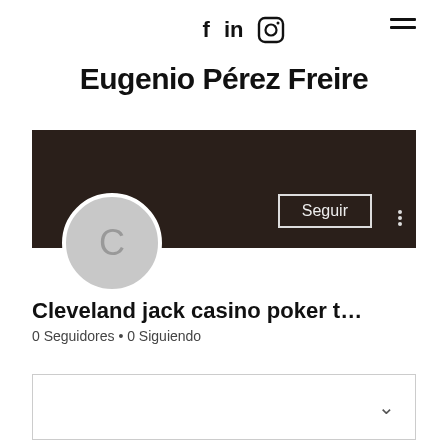f  in  [instagram icon]  [menu icon]
Eugenio Pérez Freire
[Figure (screenshot): Social media profile card with dark brown banner, circular avatar with letter C, Seguir (Follow) button, and three-dots menu icon]
Cleveland jack casino poker t...
0 Seguidores • 0 Siguiendo
[Figure (other): Expandable content box with a chevron/down arrow on the right side]